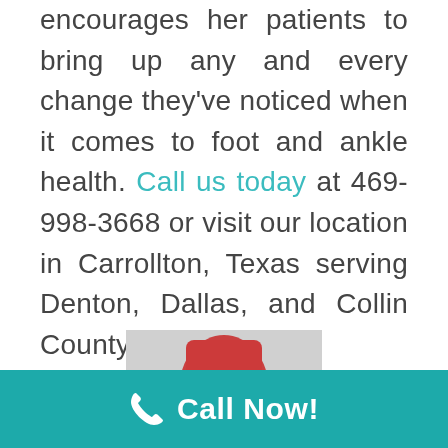encourages her patients to bring up any and every change they've noticed when it comes to foot and ankle health. Call us today at 469-998-3668 or visit our location in Carrollton, Texas serving Denton, Dallas, and Collin County.
[Figure (photo): Person in red outfit examining or touching their foot/ankle area, possibly stretching or inspecting an injury]
Call Now!